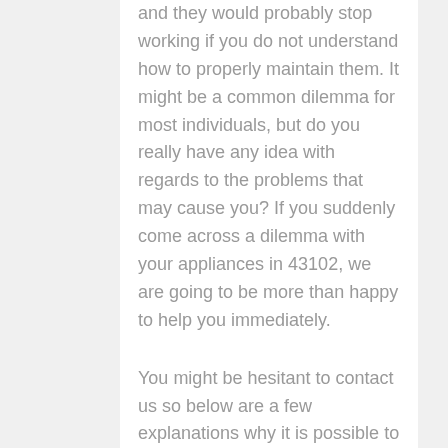and they would probably stop working if you do not understand how to properly maintain them. It might be a common dilemma for most individuals, but do you really have any idea with regards to the problems that may cause you? If you suddenly come across a dilemma with your appliances in 43102, we are going to be more than happy to help you immediately.
You might be hesitant to contact us so below are a few explanations why it is possible to rely on Columbus Appliance Masters when it comes to these issues.